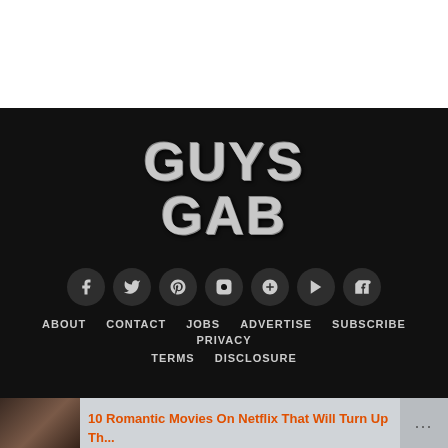[Figure (logo): Guys Gab website logo with metallic silver lettering on black background, with car and beer mug graphics]
[Figure (infographic): Row of 7 social media icon circles: Facebook, Twitter, Pinterest, Instagram, Google+, YouTube, Tumblr on dark background]
ABOUT   CONTACT   JOBS   ADVERTISE   SUBSCRIBE   PRIVACY   TERMS   DISCLOSURE
[Figure (photo): Advertisement banner at bottom: image of couple, text '10 Romantic Movies On Netflix That Will Turn Up Th...' in orange, with close button]